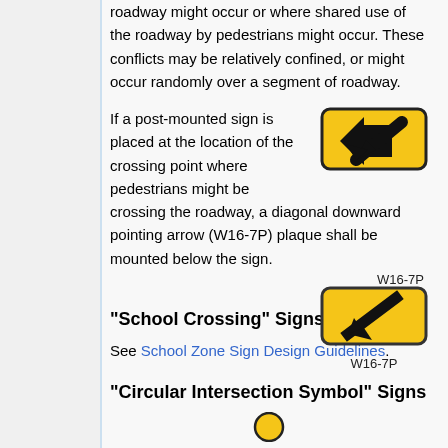roadway might occur or where shared use of the roadway by pedestrians might occur. These conflicts may be relatively confined, or might occur randomly over a segment of roadway.
If a post-mounted sign is placed at the location of the crossing point where pedestrians might be crossing the roadway, a diagonal downward pointing arrow (W16-7P) plaque shall be mounted below the sign.
[Figure (illustration): Yellow rectangular sign with a black diagonal downward-pointing arrow (W16-7P plaque)]
“School Crossing” Signs
See School Zone Sign Design Guidelines.
“Circular Intersection Symbol” Signs